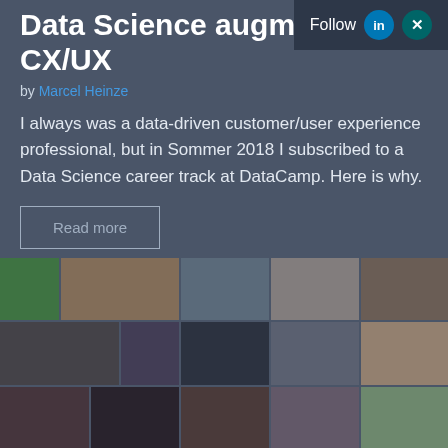Data Science augments CX/UX
by Marcel Heinze
I always was a data-driven customer/user experience professional, but in Sommer 2018 I subscribed to a Data Science career track at DataCamp. Here is why.
[Figure (other): Read more button — a rectangular outlined button with the text 'Read more']
[Figure (photo): A collage/mosaic grid of diverse people's portrait photos in color and black-and-white]